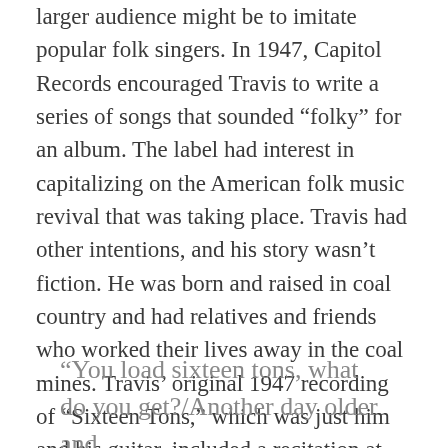larger audience might be to imitate popular folk singers. In 1947, Capitol Records encouraged Travis to write a series of songs that sounded “folky” for an album. The label had interest in capitalizing on the American folk music revival that was taking place. Travis had other intentions, and his story wasn’t fiction. He was born and raised in coal country and had relatives and friends who worked their lives away in the coal mines. Travis’ original 1947 recording of “Sixteen Tons,” which was just him and his guitar, included a recitation at the beginning explaining the song’s premise, and those who have even heard the song once know it.
“You load sixteen tons, what do you get?/Another day older and